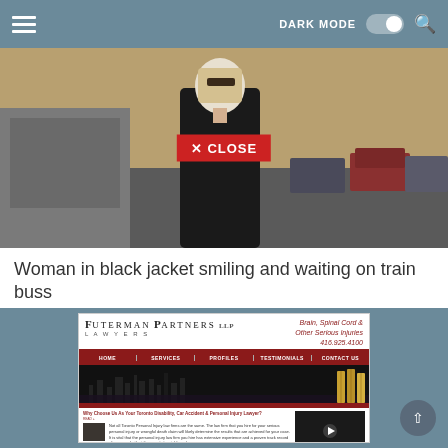DARK MODE [toggle] [search icon]
[Figure (photo): Woman with blonde hair and sunglasses in black jacket standing on a city street, with cars parked in the background. A red CLOSE button overlay is visible in the center of the image.]
Woman in black jacket smiling and waiting on train buss
[Figure (screenshot): Screenshot of Futerman Partners LLP Lawyers website. Header shows firm name with tagline 'Brain, Spinal Cord & Other Serious Injuries' and phone number 416.925.4100. Navigation bar with HOME, SERVICES, PROFILES, TESTIMONIALS, CONTACT US. Hero image of Toronto skyline at night with law books. Red bar separator. Content section titled 'Why Choose Us As Your Toronto Disability, Car Accident & Personal Injury Lawyer?' with body text and a video thumbnail of a lawyer.]